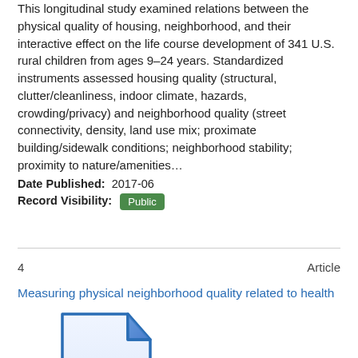This longitudinal study examined relations between the physical quality of housing, neighborhood, and their interactive effect on the life course development of 341 U.S. rural children from ages 9–24 years. Standardized instruments assessed housing quality (structural, clutter/cleanliness, indoor climate, hazards, crowding/privacy) and neighborhood quality (street connectivity, density, land use mix; proximate building/sidewalk conditions; neighborhood stability; proximity to nature/amenities…
Date Published: 2017-06
Record Visibility: Public
4    Article
Measuring physical neighborhood quality related to health
[Figure (illustration): Generic document/file icon: a blue-outlined white document with a folded corner at top right, rendered in a light blue gradient style]